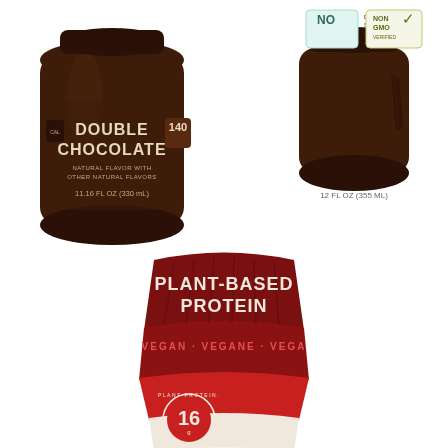[Figure (photo): Brown chocolate protein shake bottle labeled 'DOUBLE CHOCOLATE, NATURAL FLAVOR WITH OTHER NATURAL FLAVORS, 11.16 FL OZ (330 mL)', with a '140' calorie badge on the right side. The bottle has a dark brown cap and body.]
[Figure (photo): Dark brown protein shake bottle viewed from the side showing 'NO DAIRY, SOY, PEANUTS, TREE NUTS, GLUTEN' badge and 'NON GMO VERIFIED' badge. '12 FL OZ (355 ML)' text visible below. Brown cap and body.]
[Figure (photo): Dark red plant-based protein shake pouch labeled 'PLANT-BASED PROTEIN' in white bold text. Shows 'VEGAN · VEGANE · VEGA' text around the middle. Bottom circular badge reads 'PLANT·PROTEIN · PROTEINES · VEGETALE · 16g'.]